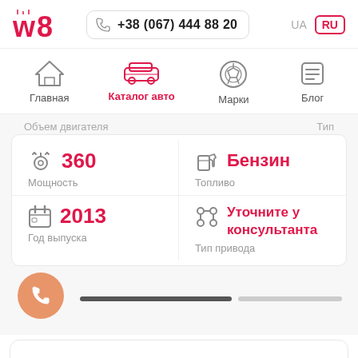w8 | +38 (067) 444 88 20 | UA | RU
[Figure (screenshot): Navigation bar with icons: Главная (home), Каталог авто (car, active/red), Марки (VW logo), Блог (menu)]
Объем двигателя | Тип
360 | Мощность
Бензин | Топливо
2013 | Год выпуска
Уточните у консультанта | Тип привода
[Figure (screenshot): Progress/slider bar with phone FAB button (orange circle with phone icon)]
[Figure (screenshot): Bottom card section with partial car image]